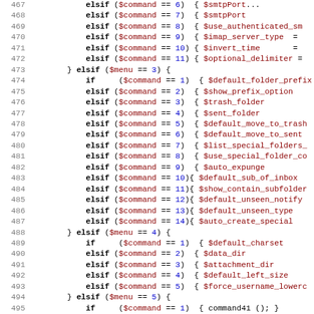[Figure (screenshot): Source code listing in a monospace editor showing PHP-like conditional code with line numbers 467-499, syntax highlighted with keywords in black bold, variables in dark red, and numeric literals in blue.]